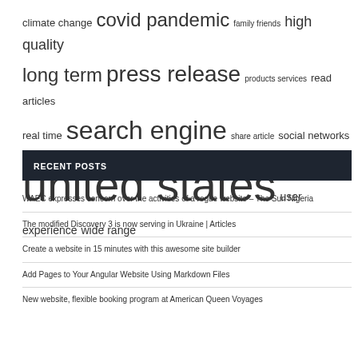[Figure (other): Tag cloud with various keyword phrases at different font sizes representing their frequency or importance. Keywords include: climate change, covid pandemic, family friends, high quality, long term, press release, products services, read articles, real time, search engine, share article, social networks, united states, user experience, wide range.]
RECENT POSTS
WAEC expresses concern over the activities of a rogue website – The Sun Nigeria
The modified Discovery 3 is now serving in Ukraine | Articles
Create a website in 15 minutes with this awesome site builder
Add Pages to Your Angular Website Using Markdown Files
New website, flexible booking program at American Queen Voyages